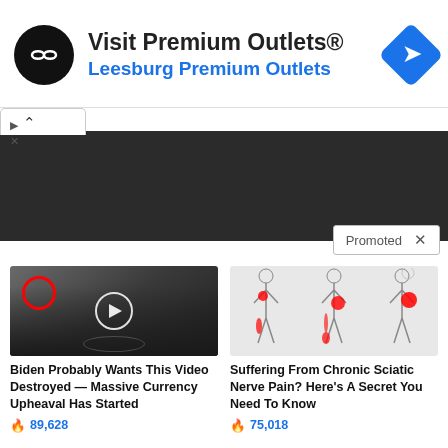[Figure (infographic): Advertisement banner for 'Visit Premium Outlets® Leesburg Premium Outlets' with a black circular logo with infinity-like symbol, blue navigation diamond icon, and small play/close controls]
[Figure (infographic): Dark gray/black bar section with a white collapse tab (caret up) and a 'Promoted X' label overlay]
[Figure (photo): Thumbnail of group of men in suits at CIA-style setting with red circle highlighting one person and a play button]
Biden Probably Wants This Video Destroyed — Massive Currency Upheaval Has Started
89,628
[Figure (illustration): Medical illustration showing body silhouettes with red highlighted areas indicating sciatic nerve pain regions]
Suffering From Chronic Sciatic Nerve Pain? Here's A Secret You Need To Know
75,018